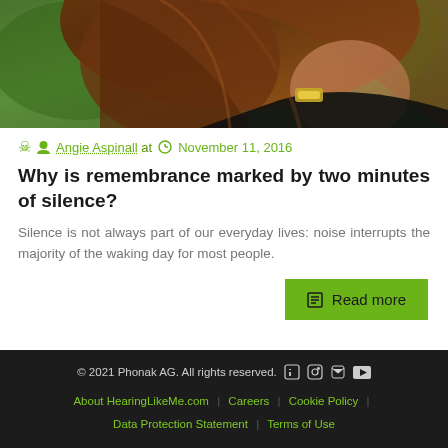[Figure (photo): Partial photo of a woman with long auburn/brown hair and a gold watch/bracelet, outdoors with green bokeh background, cropped to show hair and wrist area only.]
Angie Aspinall at  November 11, 2016
Why is remembrance marked by two minutes of silence?
Silence is not always part of our everyday lives: noise interrupts the majority of the waking day for most people.
Read more
© 2021 Phonak AG. All rights reserved.  About HearingLikeMe.com | Careers | Cookie Policy | Data Protection Statement | Terms of Use